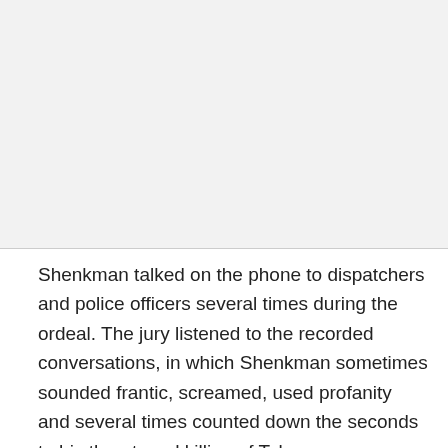[Figure (other): Gray blank area at top of page, likely image placeholder]
Shenkman talked on the phone to dispatchers and police officers several times during the ordeal. The jury listened to the recorded conversations, in which Shenkman sometimes sounded frantic, screamed, used profanity and several times counted down the seconds to his threatened killing of Tyler.